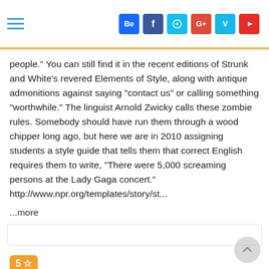Social media navigation header with hamburger menu and social icons: Behance, Facebook, Dribbble, Google+, Vine, YouTube
people." You can still find it in the recent editions of Strunk and White's revered Elements of Style, along with antique admonitions against saying "contact us" or calling something "worthwhile." The linguist Arnold Zwicky calls these zombie rules. Somebody should have run them through a wood chipper long ago, but here we are in 2010 assigning students a style guide that tells them that correct English requires them to write, "There were 5,000 screaming persons at the Lady Gaga concert." http://www.npr.org/templates/story/st...
...more
5 ☆
Jul 18, 2009
I remember, my Freshman year, sitting in the Music Building lounge waiting for my next class when Maryanne came crashing in with an appropriate amount of chaos, announcing to all